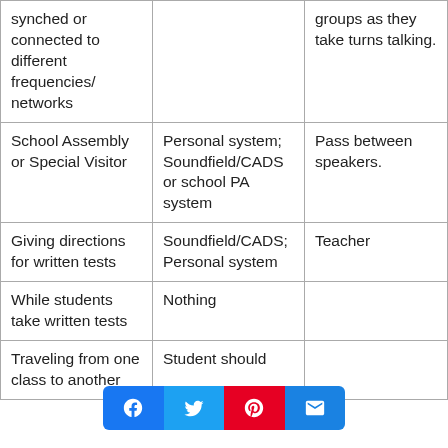| synched or connected to different frequencies/ networks |  | groups as they take turns talking. |
| School Assembly or Special Visitor | Personal system; Soundfield/CADS or school PA system | Pass between speakers. |
| Giving directions for written tests | Soundfield/CADS; Personal system | Teacher |
| While students take written tests | Nothing |  |
| Traveling from one class to another | Student should |  |